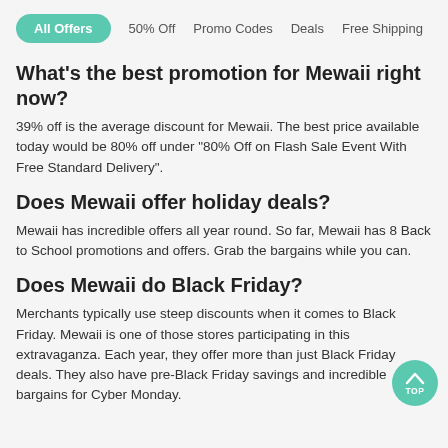All Offers | 50% Off | Promo Codes | Deals | Free Shipping
What's the best promotion for Mewaii right now?
39% off is the average discount for Mewaii. The best price available today would be 80% off under "80% Off on Flash Sale Event With Free Standard Delivery".
Does Mewaii offer holiday deals?
Mewaii has incredible offers all year round. So far, Mewaii has 8 Back to School promotions and offers. Grab the bargains while you can.
Does Mewaii do Black Friday?
Merchants typically use steep discounts when it comes to Black Friday. Mewaii is one of those stores participating in this extravaganza. Each year, they offer more than just Black Friday deals. They also have pre-Black Friday savings and incredible bargains for Cyber Monday.